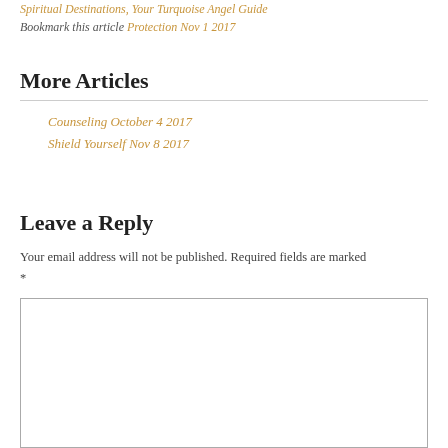Spiritual Destinations, Your Turquoise Angel Guide
Bookmark this article Protection Nov 1 2017
More Articles
Counseling October 4 2017
Shield Yourself Nov 8 2017
Leave a Reply
Your email address will not be published. Required fields are marked *